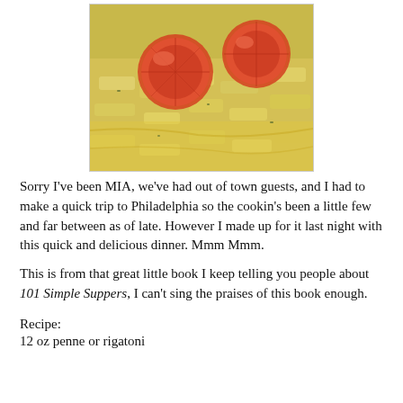[Figure (photo): Close-up photo of baked pasta dish with tomato slices and melted cheese, showing penne or rigatoni with tomatoes on top]
Sorry I've been MIA, we've had out of town guests, and I had to make a quick trip to Philadelphia so the cookin's been a little few and far between as of late. However I made up for it last night with this quick and delicious dinner. Mmm Mmm.
This is from that great little book I keep telling you people about 101 Simple Suppers, I can't sing the praises of this book enough.
Recipe:
12 oz penne or rigatoni